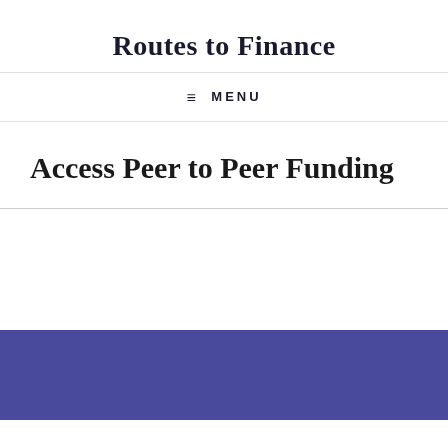Routes to Finance
≡ MENU
Access Peer to Peer Funding
Access Peer to Peer Funding, often
This website uses cookies to improve your experience. We'll assume you're